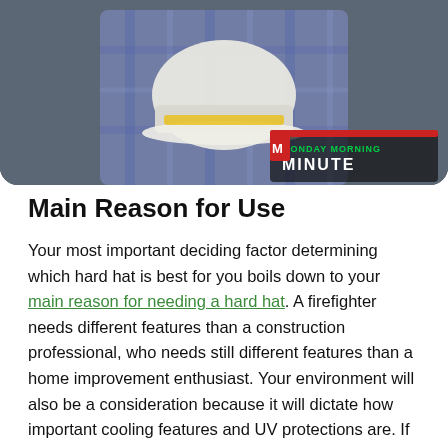[Figure (screenshot): A video screenshot showing a person in a plaid shirt holding a white hard hat. Text overlay in bottom right reads 'Monday Morning MINUTE' with a red and green logo.]
Main Reason for Use
Your most important deciding factor determining which hard hat is best for you boils down to your main reason for needing a hard hat. A firefighter needs different features than a construction professional, who needs still different features than a home improvement enthusiast. Your environment will also be a consideration because it will dictate how important cooling features and UV protections are. If you do most of your work indoors or in dark spaces, you might need to prioritize a hard hat that comes with a light or at